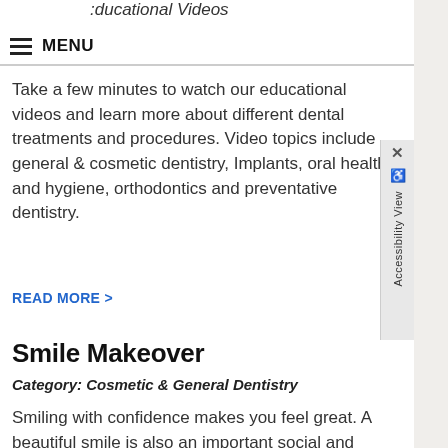Educational Videos
MENU
Take a few minutes to watch our educational videos and learn more about different dental treatments and procedures. Video topics include general & cosmetic dentistry, Implants, oral health and hygiene, orthodontics and preventative dentistry.
READ MORE >
Smile Makeover
Category: Cosmetic & General Dentistry
Smiling with confidence makes you feel great. A beautiful smile is also an important social and professional asset. Yet there are many people who avoid showing their teeth in public or in photographs because they don't like what they see. If that describes you, then why not start the process of getting